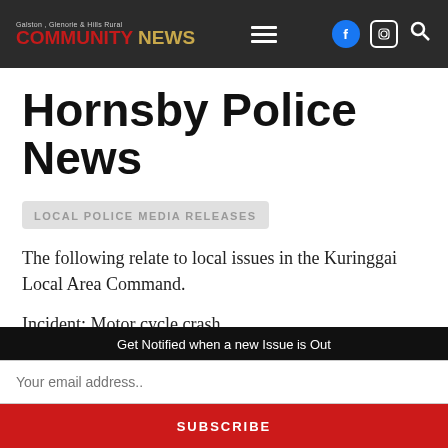Galston, Glenorie & Hills Rural Community News
Hornsby Police News
LOCAL POLICE MEDIA RELEASES
The following relate to local issues in the Kuringai Local Area Command.
Incident: Motor cycle crash
Time/Date: About 2.50pm Friday 8th
Get Notified when a new Issue is Out
Your email address..
SUBSCRIBE